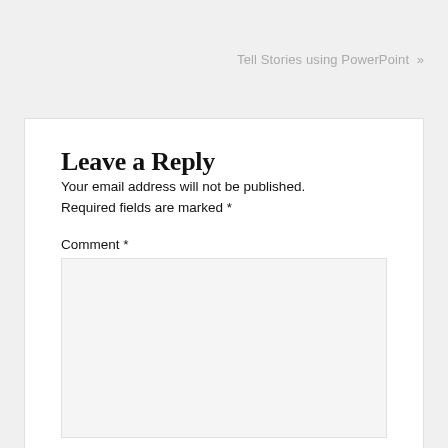Tell Stories using PowerPoint »
Leave a Reply
Your email address will not be published. Required fields are marked *
Comment *